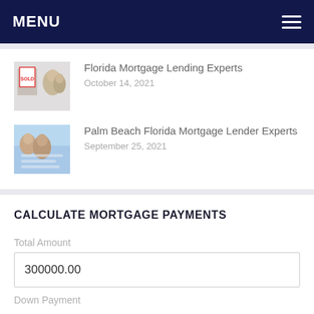MENU
Florida Mortgage Lending Experts
October 14, 2021
Palm Beach Florida Mortgage Lender Experts
September 25, 2021
CALCULATE MORTGAGE PAYMENTS
Total Amount
300000.00
Down Payment